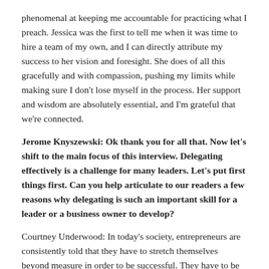phenomenal at keeping me accountable for practicing what I preach. Jessica was the first to tell me when it was time to hire a team of my own, and I can directly attribute my success to her vision and foresight. She does of all this gracefully and with compassion, pushing my limits while making sure I don't lose myself in the process. Her support and wisdom are absolutely essential, and I'm grateful that we're connected.
Jerome Knyszewski: Ok thank you for all that. Now let's shift to the main focus of this interview. Delegating effectively is a challenge for many leaders. Let's put first things first. Can you help articulate to our readers a few reasons why delegating is such an important skill for a leader or a business owner to develop?
Courtney Underwood: In today's society, entrepreneurs are consistently told that they have to stretch themselves beyond measure in order to be successful. They have to be everything to everyone, wear every hat in their business, and still find time to eat, sleep and live. Many buy into this narrative without questioning the logic behind it.